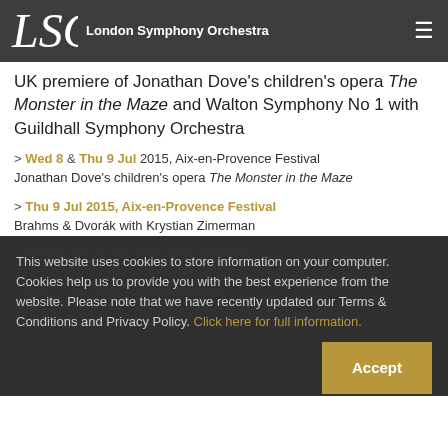LSO London Symphony Orchestra
UK premiere of Jonathan Dove's children's opera The Monster in the Maze and Walton Symphony No 1 with Guildhall Symphony Orchestra
> Wed 8 & Thu 9 Jul 2015, Aix-en-Provence Festival Jonathan Dove's children's opera The Monster in the Maze
> Thu 9 Jul 2015, Aix-en-Provence Festival Brahms & Dvorák with Krystian Zimerman
> Sat 9 & Sun 10 Jan 2016 7pm, Barbican Debussy Pelléas et Mélisande, directed by Peter Sellars
> Wed 13 Jan 2016 7.30pm, Barbican Ravel, Dutilleux & Delage with Leonidas Kavakos
This website uses cookies to store information on your computer. Cookies help us to provide you with the best experience from the website. Please note that we have recently updated our Terms & Conditions and Privacy Policy. Click here for full information.